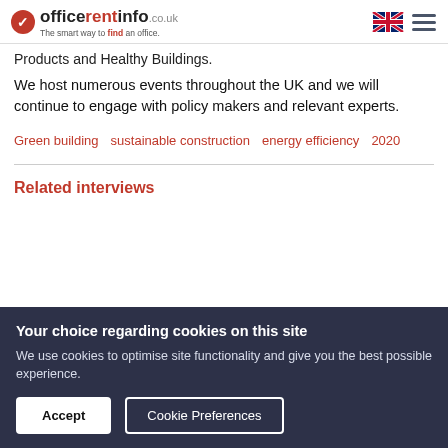officerentinfo.co.uk — The smart way to find an office.
Products and Healthy Buildings.
We host numerous events throughout the UK and we will continue to engage with policy makers and relevant experts.
Green building   sustainable construction   energy efficiency   2020
Related interviews
Your choice regarding cookies on this site
We use cookies to optimise site functionality and give you the best possible experience.
Accept   Cookie Preferences